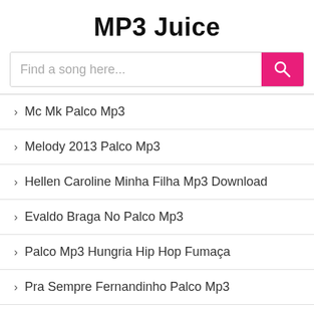MP3 Juice
Mc Mk Palco Mp3
Melody 2013 Palco Mp3
Hellen Caroline Minha Filha Mp3 Download
Evaldo Braga No Palco Mp3
Palco Mp3 Hungria Hip Hop Fumaça
Pra Sempre Fernandinho Palco Mp3
Banda Inala Palco Mp3
Sweet Fanta Diallo Mp3 Download
Gil Balas 2017 Mp3
Palco Mp3 Baixar Músicas
Ccb Hinos Avulsos Mp3
Palco Mp3 Avioes Vaquejada